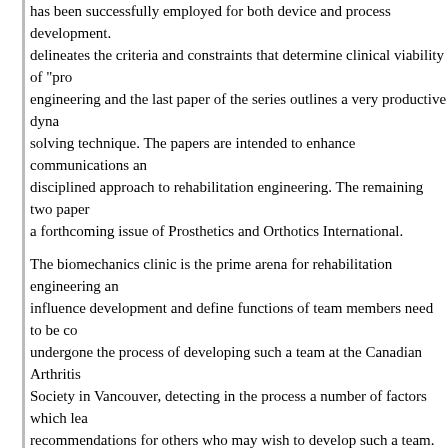has been successfully employed for both device and process development. delineates the criteria and constraints that determine clinical viability of "pro engineering and the last paper of the series outlines a very productive dyna solving technique. The papers are intended to enhance communications an disciplined approach to rehabilitation engineering. The remaining two paper a forthcoming issue of Prosthetics and Orthotics International.
The biomechanics clinic is the prime arena for rehabilitation engineering an influence development and define functions of team members need to be co undergone the process of developing such a team at the Canadian Arthritis Society in Vancouver, detecting in the process a number of factors which lea recommendations for others who may wish to develop such a team.
The problems
It is the inclusion of engineers that creates both expectation and dismay am who are not really prepared for the dichotomy between the medical and eng
The major differences are:
Medical people see the patient as a problem.
Engineers see the patient as an example of a problem.
The action period of engineers is long by medical time standards.
Medical people want an immediate, unique and complete solution to a partic problem, while engineers want general solutions for populations. Once thes grasped, there is some hope that the team can work together toward real so meanwhile, the pitfall for the engineers is that medical people may press for resolve this immediacy of need by having engineers adapt and modify existi